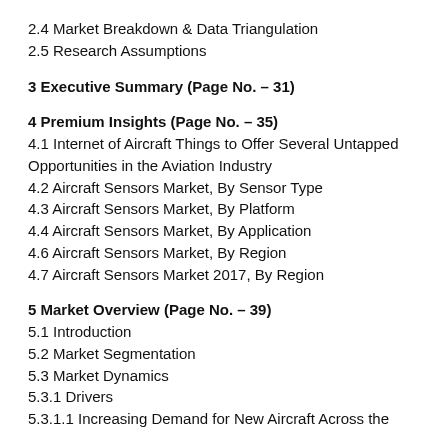2.4 Market Breakdown & Data Triangulation
2.5 Research Assumptions
3 Executive Summary (Page No. – 31)
4 Premium Insights (Page No. – 35)
4.1 Internet of Aircraft Things to Offer Several Untapped Opportunities in the Aviation Industry
4.2 Aircraft Sensors Market, By Sensor Type
4.3 Aircraft Sensors Market, By Platform
4.4 Aircraft Sensors Market, By Application
4.6 Aircraft Sensors Market, By Region
4.7 Aircraft Sensors Market 2017, By Region
5 Market Overview (Page No. – 39)
5.1 Introduction
5.2 Market Segmentation
5.3 Market Dynamics
5.3.1 Drivers
5.3.1.1 Increasing Demand for New Aircraft Across the